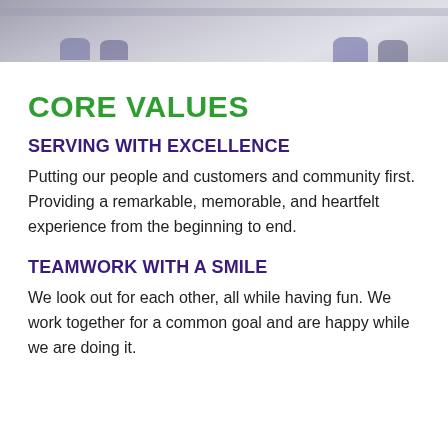[Figure (photo): Partial photo showing feet/shoes of people standing on a floor, cropped at top of page]
CORE VALUES
SERVING WITH EXCELLENCE
Putting our people and customers and community first. Providing a remarkable, memorable, and heartfelt experience from the beginning to end.
TEAMWORK WITH A SMILE
We look out for each other, all while having fun. We work together for a common goal and are happy while we are doing it.